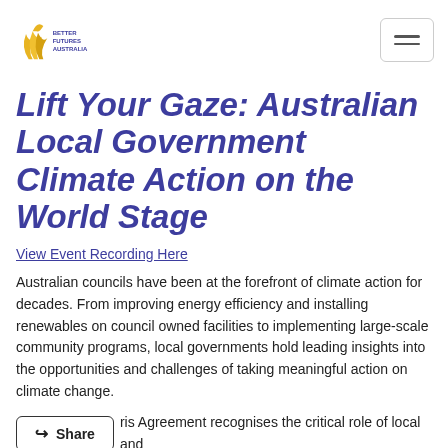[Figure (logo): Better Futures Australia logo — stylized flame/leaf shapes in yellow and gold, with text 'BETTER FUTURES AUSTRALIA' in dark blue/purple]
Lift Your Gaze: Australian Local Government Climate Action on the World Stage
View Event Recording Here
Australian councils have been at the forefront of climate action for decades. From improving energy efficiency and installing renewables on council owned facilities to implementing large-scale community programs, local governments hold leading insights into the opportunities and challenges of taking meaningful action on climate change.
ris Agreement recognises the critical role of local and